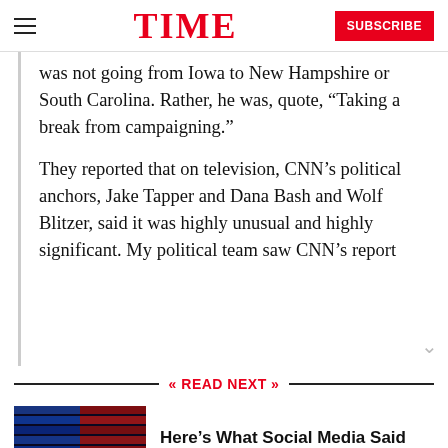TIME | SUBSCRIBE
was not going from Iowa to New Hampshire or South Carolina. Rather, he was, quote, “Taking a break from campaigning.”
They reported that on television, CNN’s political anchors, Jake Tapper and Dana Bash and Wolf Blitzer, said it was highly unusual and highly significant. My political team saw CNN’s report
« READ NEXT »
[Figure (photo): Dark image showing a figure at a podium with red and blue lighting stripes, likely from a Republican debate stage]
Here’s What Social Media Said Ahead of the Republican Debate